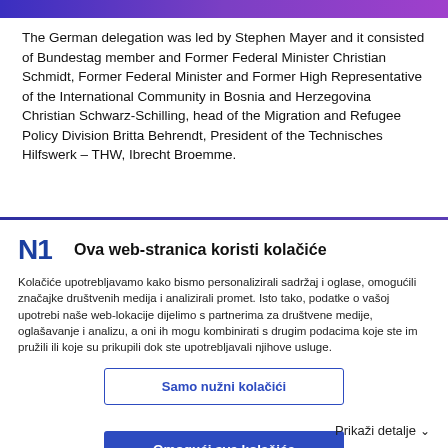The German delegation was led by Stephen Mayer and it consisted of Bundestag member and Former Federal Minister Christian Schmidt, Former Federal Minister and Former High Representative of the International Community in Bosnia and Herzegovina Christian Schwarz-Schilling, head of the Migration and Refugee Policy Division Britta Behrendt, President of the Technisches Hilfswerk – THW, Ibrecht Broemme.
[Figure (logo): N1 logo in dark blue bold letters]
Ova web-stranica koristi kolačiće
Kolačiće upotrebljavamo kako bismo personalizirali sadržaj i oglase, omogućili značajke društvenih medija i analizirali promet. Isto tako, podatke o vašoj upotrebi naše web-lokacije dijelimo s partnerima za društvene medije, oglašavanje i analizu, a oni ih mogu kombinirati s drugim podacima koje ste im pružili ili koje su prikupili dok ste upotrebljavali njihove usluge.
Samo nužni kolačići
Omogući sve kolačiće
Prikaži detalje ∨